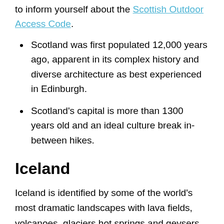to inform yourself about the Scottish Outdoor Access Code.
Scotland was first populated 12,000 years ago, apparent in its complex history and diverse architecture as best experienced in Edinburgh.
Scotland's capital is more than 1300 years old and an ideal culture break in-between hikes.
Iceland
Iceland is identified by some of the world's most dramatic landscapes with lava fields, volcanoes, glaciers hot springs and geysers. These magical qualities are made even more so by the locals who are not only peaceful and friendly. But it has been